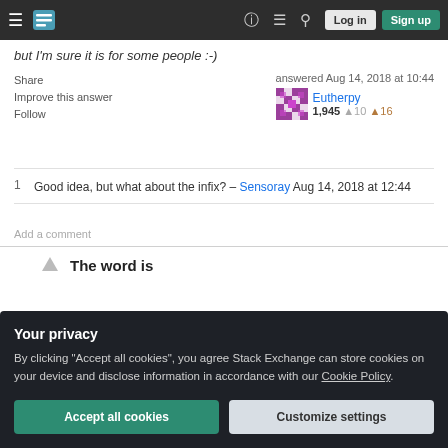Stack Exchange navigation bar with Log in and Sign up buttons
but I'm sure it is for some people :)
Share  Improve this answer  Follow
answered Aug 14, 2018 at 10:44  Eutherpy  1,945  ●10  ●16
1  Good idea, but what about the infix? – Sensoray  Aug 14, 2018 at 12:44
Add a comment
The word is
Your privacy
By clicking "Accept all cookies", you agree Stack Exchange can store cookies on your device and disclose information in accordance with our Cookie Policy.
Accept all cookies  Customize settings